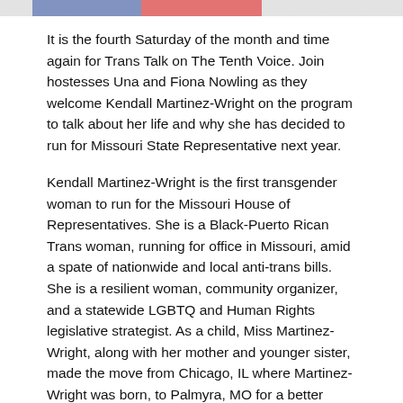[Figure (photo): Partial banner image at top of page with blue and red color bands]
It is the fourth Saturday of the month and time again for Trans Talk on The Tenth Voice. Join hostesses Una and Fiona Nowling as they welcome Kendall Martinez-Wright on the program to talk about her life and why she has decided to run for Missouri State Representative next year.
Kendall Martinez-Wright is the first transgender woman to run for the Missouri House of Representatives. She is a Black-Puerto Rican Trans woman, running for office in Missouri, amid a spate of nationwide and local anti-trans bills. She is a resilient woman, community organizer, and a statewide LGBTQ and Human Rights legislative strategist. As a child, Miss Martinez-Wright, along with her mother and younger sister, made the move from Chicago, IL where Martinez-Wright was born, to Palmyra, MO for a better quality of life.